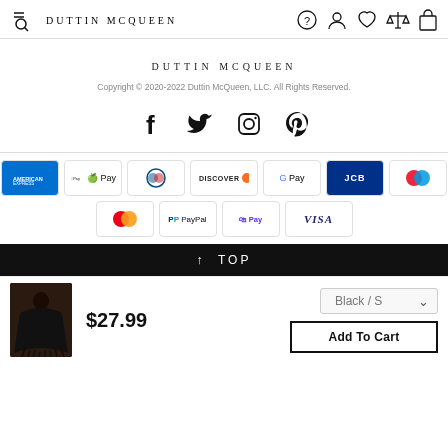DUTTIN MCQUEEN
DUTTIN MCQUEEN
Copyright © 2020-2022 Duttin McQueen, LLC. All Rights Reserved.
[Figure (infographic): Social media icons: Facebook, Twitter, Instagram, Pinterest]
[Figure (infographic): Payment method logos: American Express, Apple Pay, Diners Club, Discover, Google Pay, JCB, Maestro, Mastercard, PayPal, Shopify Pay, Visa]
↑ TOP
[Figure (photo): Product photo of a black fringe cape/poncho worn by a model]
$27.99
Black / S
Add To Cart